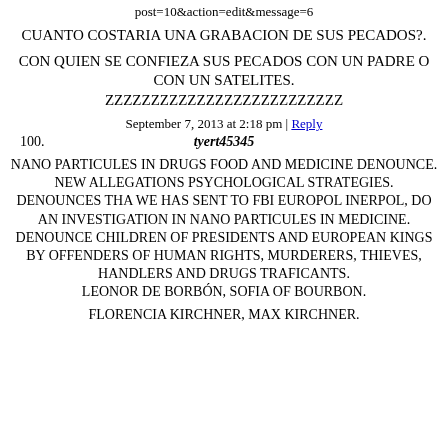post=10&action=edit&message=6
CUANTO COSTARIA UNA GRABACION DE SUS PECADOS?.
CON QUIEN SE CONFIEZA SUS PECADOS CON UN PADRE O CON UN SATELITES. ZZZZZZZZZZZZZZZZZZZZZZZZZZ
September 7, 2013 at 2:18 pm | Reply
100. tyert45345
NANO PARTICULES IN DRUGS FOOD AND MEDICINE DENOUNCE. NEW ALLEGATIONS PSYCHOLOGICAL STRATEGIES. DENOUNCES THA WE HAS SENT TO FBI EUROPOL INERPOL, DO AN INVESTIGATION IN NANO PARTICULES IN MEDICINE. DENOUNCE CHILDREN OF PRESIDENTS AND EUROPEAN KINGS BY OFFENDERS OF HUMAN RIGHTS, MURDERERS, THIEVES, HANDLERS AND DRUGS TRAFICANTS. LEONOR DE BORBÓN, SOFIA OF BOURBON. FLORENCIA KIRCHNER, MAX KIRCHNER.